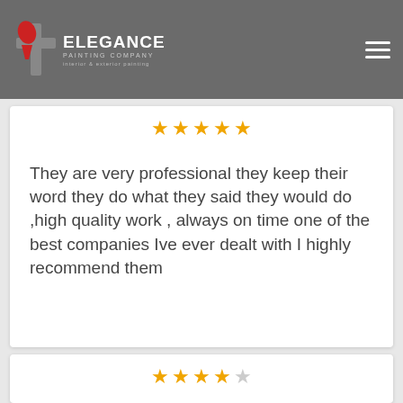Elegance Painting Company
[Figure (other): 5 gold stars rating]
They are very professional they keep their word they do what they said they would do ,high quality work , always on time one of the best companies Ive ever dealt with I highly recommend them
[Figure (other): 4 gold stars and 1 empty star rating (4 out of 5 stars)]